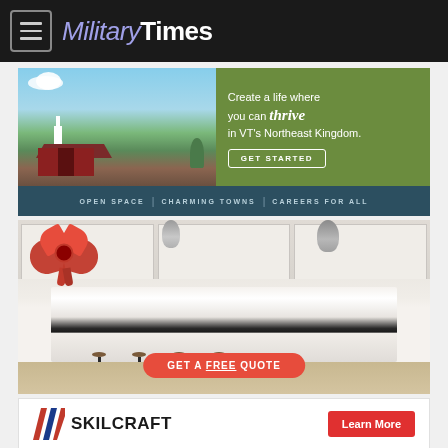MilitaryTimes
[Figure (illustration): Advertisement for Vermont's Northeast Kingdom. Left side shows a red barn with green landscape and blue sky. Right side has olive-green background with text: 'Create a life where you can thrive in VT's Northeast Kingdom.' with a GET STARTED button. Bottom bar reads: OPEN SPACE | CHARMING TOWNS | CAREERS FOR ALL]
[Figure (photo): Advertisement for kitchen remodeling. Shows a white luxury kitchen with island, barstools, pendant lights, and a large red ribbon bow overlay. Red rounded button at bottom reads: GET A FREE QUOTE]
[Figure (logo): Skilcraft logo advertisement with diagonal stripe logo mark and red 'Learn More' button]